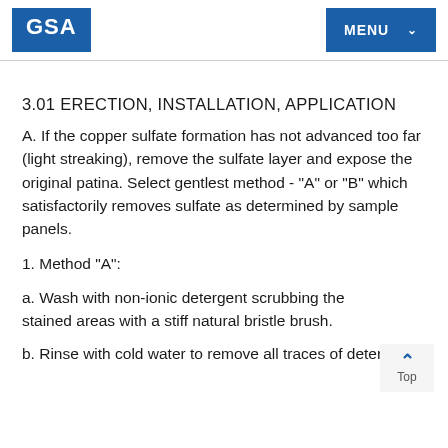GSA | MENU
3.01 ERECTION, INSTALLATION, APPLICATION
A. If the copper sulfate formation has not advanced too far (light streaking), remove the sulfate layer and expose the original patina. Select gentlest method - "A" or "B" which satisfactorily removes sulfate as determined by sample panels.
1. Method "A":
a. Wash with non-ionic detergent scrubbing the stained areas with a stiff natural bristle brush.
b. Rinse with cold water to remove all traces of detergent.